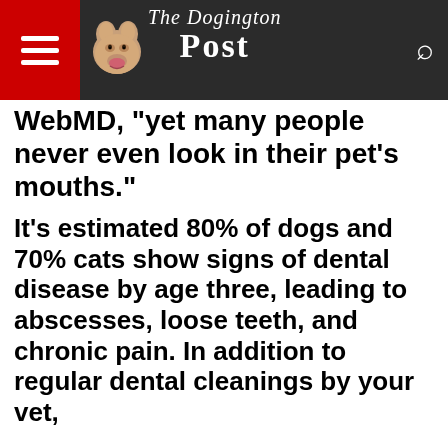The Dogington Post
WebMD, "yet many people never even look in their pet's mouths."
It's estimated 80% of dogs and 70% cats show signs of dental disease by age three, leading to abscesses, loose teeth, and chronic pain. In addition to regular dental cleanings by your vet,